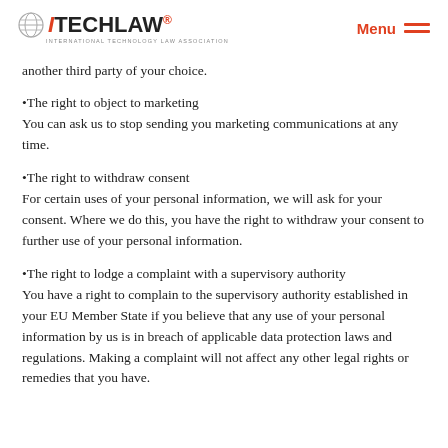ITECHLAW® Menu
another third party of your choice.
•The right to object to marketing
You can ask us to stop sending you marketing communications at any time.
•The right to withdraw consent
For certain uses of your personal information, we will ask for your consent. Where we do this, you have the right to withdraw your consent to further use of your personal information.
•The right to lodge a complaint with a supervisory authority
You have a right to complain to the supervisory authority established in your EU Member State if you believe that any use of your personal information by us is in breach of applicable data protection laws and regulations. Making a complaint will not affect any other legal rights or remedies that you have.